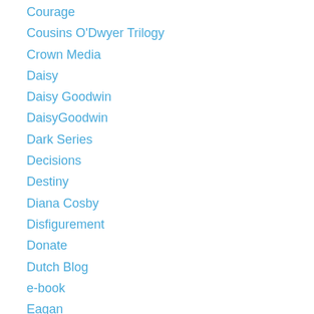Courage
Cousins O'Dwyer Trilogy
Crown Media
Daisy
Daisy Goodwin
DaisyGoodwin
Dark Series
Decisions
Destiny
Diana Cosby
Disfigurement
Donate
Dutch Blog
e-book
Eagan
EasternUnitedStates
ebook
Education
EknathEaswaran
Elizabeth J. Duncan